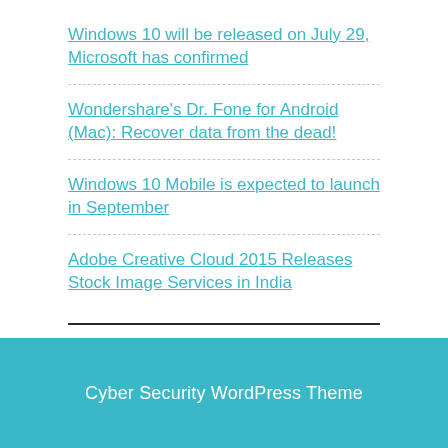Windows 10 will be released on July 29, Microsoft has confirmed
Wondershare's Dr. Fone for Android (Mac): Recover data from the dead!
Windows 10 Mobile is expected to launch in September
Adobe Creative Cloud 2015 Releases Stock Image Services in India
Recent Comments
Cyber Security WordPress Theme